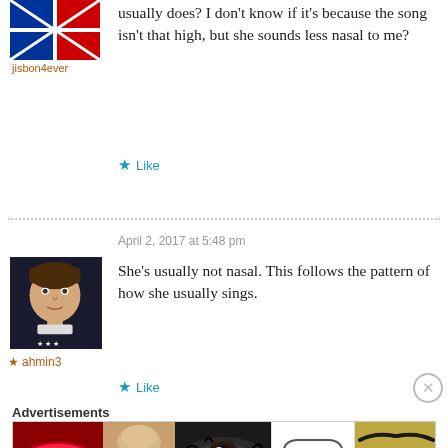[Figure (photo): User avatar with blue and red flag design for jisbon4ever]
jisbon4ever
usually does? I don't know if it's because the song isn't that high, but she sounds less nasal to me?
★ Like
April 2, 2017 at 5:48 pm
[Figure (photo): User avatar photo of a young man in a black NYC sweatshirt]
★ ahmin3
She's usually not nasal. This follows the pattern of how she usually sings.
★ Like
Advertisements
[Figure (photo): Ulta beauty advertisement banner with makeup imagery including lips, brush, eyes, Ulta logo, and Shop Now button]